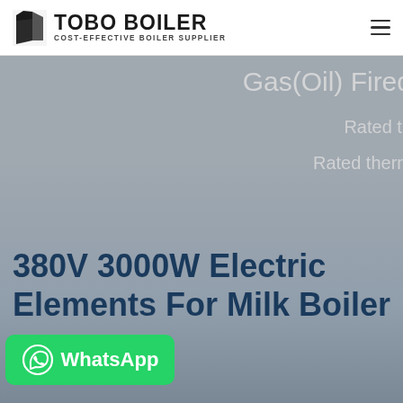TOBO BOILER — COST-EFFECTIVE BOILER SUPPLIER
[Figure (photo): Hero background image of industrial boiler equipment with dark blue/grey industrial machinery visible, overlaid with semi-transparent grey color]
Gas(Oil) Fired
Rated th
Rated therm
380V 3000W Electric Elements For Milk Boiler
[Figure (logo): WhatsApp green button with phone icon and 'WhatsApp' text in white]